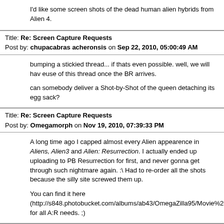I'd like some screen shots of the dead human alien hybrids from Alien 4.
Title: Re: Screen Capture Requests
Post by: chupacabrasacheronsis on Sep 22, 2010, 05:00:49 AM
bumping a stickied thread... if thats even possible. well, we will hav euse of this thread once the BR arrives.

can somebody deliver a Shot-by-Shot of the queen detaching its egg sack?
Title: Re: Screen Capture Requests
Post by: Omegamorph on Nov 19, 2010, 07:39:33 PM
A long time ago I capped almost every Alien appearence in Aliens, Alien3 and Alien: Resurrection. I actually ended up uploading to PB Resurrection for first, and never gonna get through such nightmare again. :\ Had to re-order all the shots because the silly site screwed them up.

You can find it here (http://s848.photobucket.com/albums/ab43/OmegaZilla95/Movie%20Scr for all A:R needs. ;)
Title: Re: Screen Capture Requests